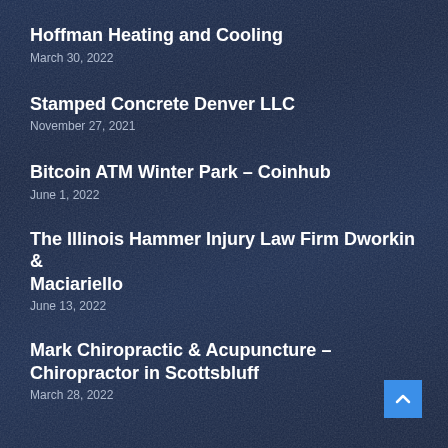Hoffman Heating and Cooling
March 30, 2022
Stamped Concrete Denver LLC
November 27, 2021
Bitcoin ATM Winter Park – Coinhub
June 1, 2022
The Illinois Hammer Injury Law Firm Dworkin & Maciariello
June 13, 2022
Mark Chiropractic & Acupuncture – Chiropractor in Scottsbluff
March 28, 2022